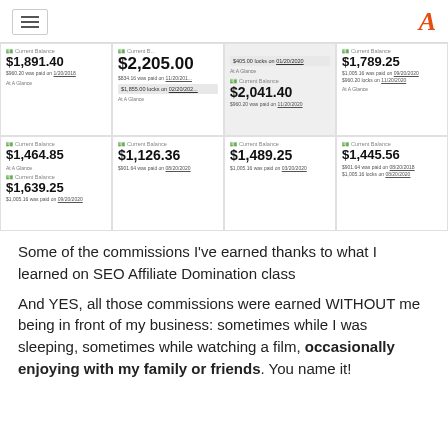Navigation header with hamburger menu and logo
[Figure (screenshot): Screenshot showing multiple affiliate commission dashboard cards with earnings amounts: $1,891.40, $2,205.00, $1,789.25, $1,464.85, $1,126.36, $2,041.40, $1,445.56, $1,639.25, $1,489.25 and various payment/lock dates]
Some of the commissions I've earned thanks to what I learned on SEO Affiliate Domination class
And YES, all those commissions were earned WITHOUT me being in front of my business: sometimes while I was sleeping, sometimes while watching a film, occasionally enjoying with my family or friends. You name it!